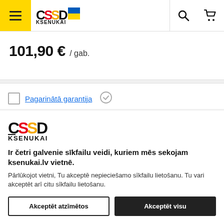CSSD Ksenukai - navigation header
101,90 € / gab.
Pagarinātā garantija
Bezmaksas ierīces remonts
[Figure (logo): CSSD Ksenukai logo]
Ir četri galvenie sīkfailu veidi, kuriem mēs sekojam ksenukai.lv vietnē.
Pārlūkojot vietni, Tu akceptē nepieciešamo sīkfailu lietošanu. Tu vari akceptēt arī citu sīkfailu lietošanu.
Akceptēt atzīmētos | Akceptēt visu